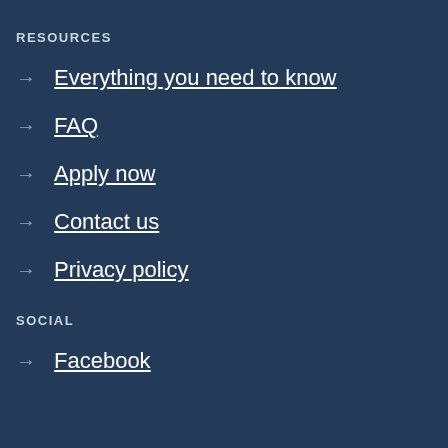RESOURCES
Everything you need to know
FAQ
Apply now
Contact us
Privacy policy
SOCIAL
Facebook